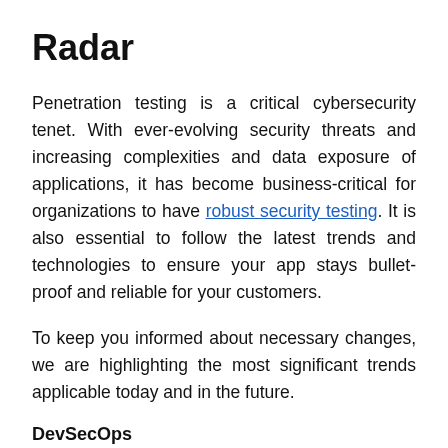Radar
Penetration testing is a critical cybersecurity tenet. With ever-evolving security threats and increasing complexities and data exposure of applications, it has become business-critical for organizations to have robust security testing. It is also essential to follow the latest trends and technologies to ensure your app stays bullet-proof and reliable for your customers.
To keep you informed about necessary changes, we are highlighting the most significant trends applicable today and in the future.
DevSecOps